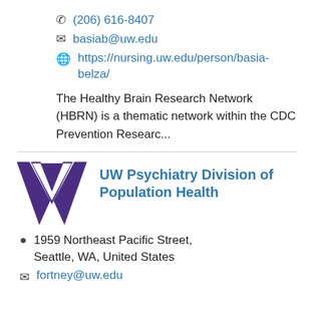📞 (206) 616-8407
✉ basiab@uw.edu
🌐 https://nursing.uw.edu/person/basia-belza/
The Healthy Brain Research Network (HBRN) is a thematic network within the CDC Prevention Researc...
UW Psychiatry Division of Population Health
📍 1959 Northeast Pacific Street, Seattle, WA, United States
✉ fortney@uw.edu